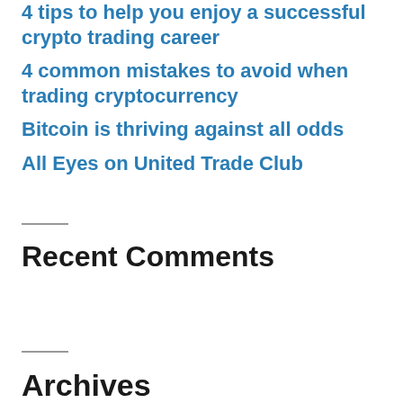4 tips to help you enjoy a successful crypto trading career
4 common mistakes to avoid when trading cryptocurrency
Bitcoin is thriving against all odds
All Eyes on United Trade Club
Recent Comments
Archives